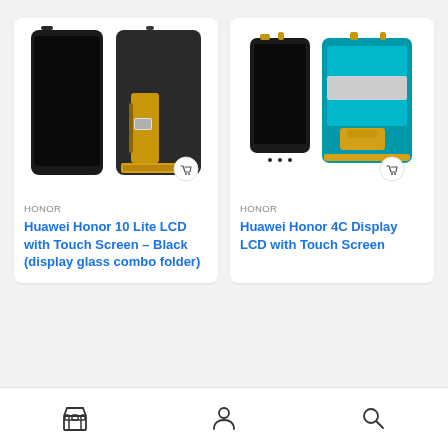[Figure (photo): Huawei Honor 10 Lite LCD with Touch Screen - Black product photo showing two phone screens, one black and one showing the back with flex cable and gold connector]
HONOR
Huawei Honor 10 Lite LCD with Touch Screen – Black (display glass combo folder)
[Figure (photo): Huawei Honor 4C Display LCD with Touch Screen product photo showing two phone screens with cyan/teal colored flex cable]
HONOR
Huawei Honor 4C Display LCD with Touch Screen
Store | Account | Search